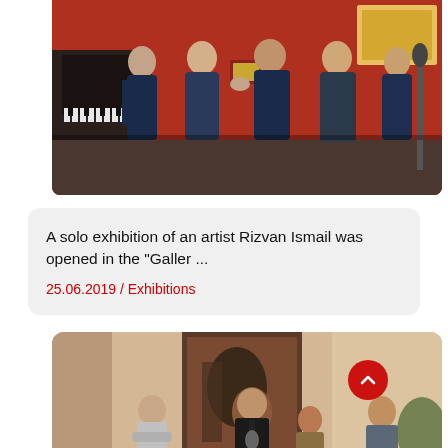[Figure (photo): Group of men in suits shaking hands and exchanging what appears to be a certificate or plaque, indoors with a red wall and piano in the background.]
A solo exhibition of an artist Rizvan Ismail was opened in the “Galler …
25.06.2019 / Exhibitions
[Figure (photo): People standing at an art gallery opening, one man speaking at a microphone, others standing around, with large artwork visible on the wall behind them.]